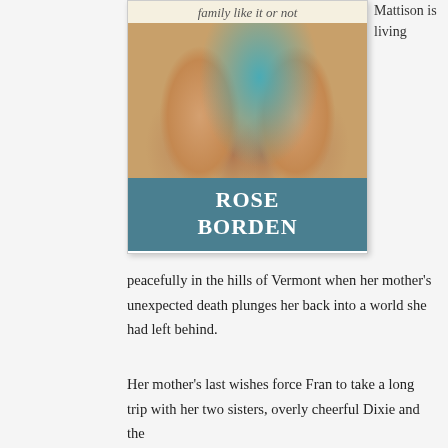[Figure (illustration): Book cover for a novel by Rose Borden. Top bar has italic script text 'family like it or not'. Below is a photo of people (likely women) sitting together holding hands, wearing casual summer clothing. At the bottom is a teal/dark blue bar with the author name 'ROSE BORDEN' in large white serif letters.]
Mattison is living
peacefully in the hills of Vermont when her mother's unexpected death plunges her back into a world she had left behind.
Her mother's last wishes force Fran to take a long trip with her two sisters, overly cheerful Dixie and the